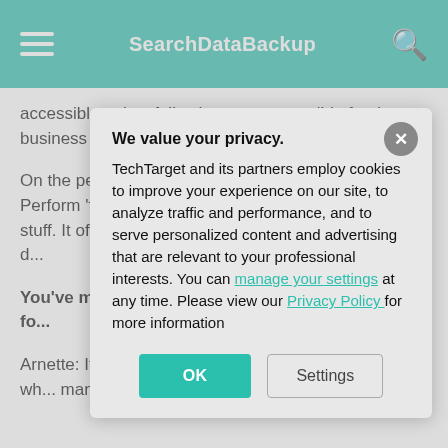SearchDataBackup
accessible to key folks that are responsible for the business continuity aspect.
On the people front, it's having adequate education. Perform 'fire drills.' No one likes to think about this stuff. It often doe... happen and you... suffer the most d...
You've mention... finding that mo... in some form fo...
Arnette: It seems... option that move... environment, wh... managed cloud.
We value your privacy.
TechTarget and its partners employ cookies to improve your experience on our site, to analyze traffic and performance, and to serve personalized content and advertising that are relevant to your professional interests. You can manage your settings at any time. Please view our Privacy Policy for more information